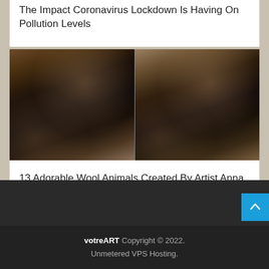The Impact Coronavirus Lockdown Is Having On Pollution Levels
[Figure (photo): Two side-by-side photos of small black bat animals being held in human hands, resembling felted wool sculptures]
13 Adorable Wool Animals Created By Artist Anna Yastrezhembovskaya
votreART Copyright © 2022. Unmetered VPS Hosting.